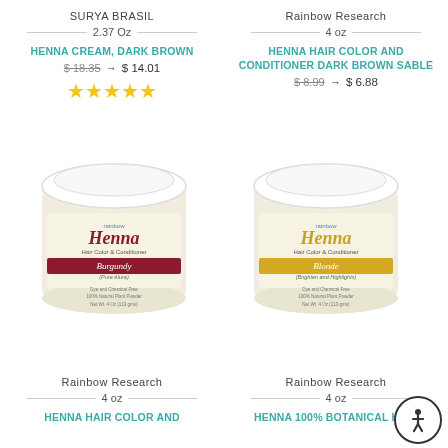SURYA BRASIL
2.37 Oz
HENNA CREAM, DARK BROWN
$ 18.35 → $ 14.01
★★★★★
Rainbow Research
4 oz
HENNA HAIR COLOR AND CONDITIONER DARK BROWN SABLE
$ 8.99 → $ 6.88
[Figure (photo): Jar of Rainbow Henna Hair Color & Conditioner in Burgundy (Pure Alura)]
[Figure (photo): Jar of Rainbow Henna Hair Color & Conditioner in Blonde (Brighten and Highlights)]
Rainbow Research
4 oz
HENNA HAIR COLOR AND
Rainbow Research
4 oz
HENNA 100% BOTANICAL HAIR